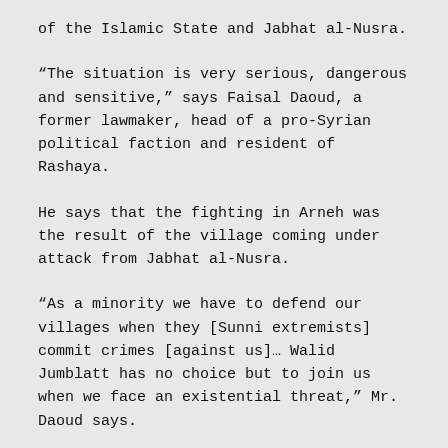of the Islamic State and Jabhat al-Nusra.
“The situation is very serious, dangerous and sensitive,” says Faisal Daoud, a former lawmaker, head of a pro-Syrian political faction and resident of Rashaya.
He says that the fighting in Arneh was the result of the village coming under attack from Jabhat al-Nusra.
“As a minority we have to defend our villages when they [Sunni extremists] commit crimes [against us]… Walid Jumblatt has no choice but to join us when we face an existential threat,” Mr. Daoud says.